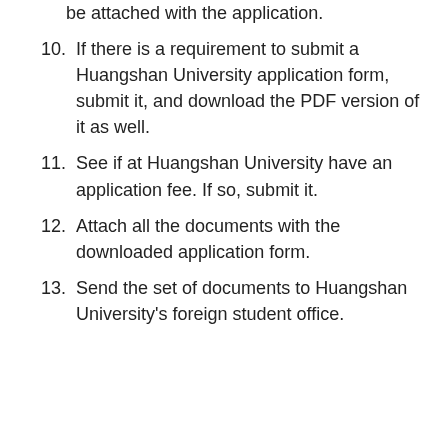be attached with the application.
10. If there is a requirement to submit a Huangshan University application form, submit it, and download the PDF version of it as well.
11. See if at Huangshan University have an application fee. If so, submit it.
12. Attach all the documents with the downloaded application form.
13. Send the set of documents to Huangshan University's foreign student office.